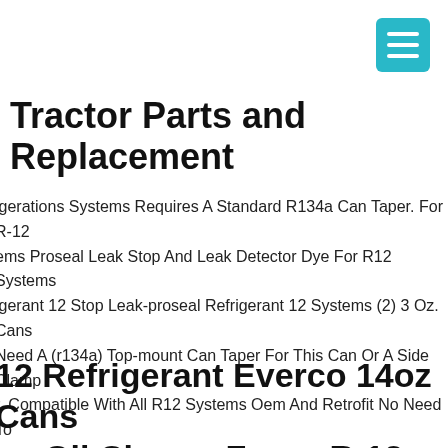[Figure (other): Teal/cyan hamburger menu button icon in top-right corner]
Tractor Parts and Replacement
igerations Systems Requires A Standard R134a Can Taper. For R-12 ems Proseal Leak Stop And Leak Detector Dye For R12 Systems igerant 12 Stop Leak-proseal Refrigerant 12 Systems (2) 3 Oz. Cans Need A (r134a) Top-mount Can Taper For This Can Or A Side Clamp r. Compatible With All R12 Systems Oem And Retrofit No Need To harge Refrigerant Contained In The System. Disposable Can(s) Und sure. **generally, In Order To Sell Refrigerant (also Known As Cfc-1 Other Refrigerants, The Law Requires Sellers To Make Sure That Th r Is Epa-certified. The Buyer Has To Show Proof Of Certification Bef ng And Before The Item Is Shipped.
12 Refrigerant Everco 14oz Cans us Oil Charge Freon R-12